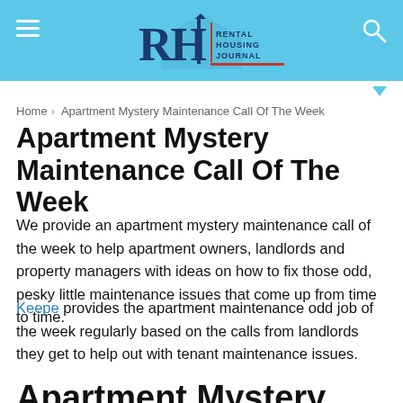Rental Housing Journal
Home › Apartment Mystery Maintenance Call Of The Week
Apartment Mystery Maintenance Call Of The Week
We provide an apartment mystery maintenance call of the week to help apartment owners, landlords and property managers with ideas on how to fix those odd, pesky little maintenance issues that come up from time to time.
Keepe provides the apartment maintenance odd job of the week regularly based on the calls from landlords they get to help out with tenant maintenance issues.
Apartment Mystery